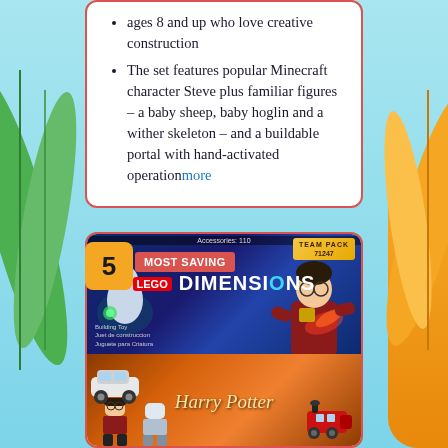ages 8 and up who love creative construction
The set features popular Minecraft character Steve plus familiar figures – a baby sheep, baby hoglin and a wither skeleton – and a buildable portal with hand-activated operationmore
5
MOST SAVING
[Figure (photo): LEGO Dimensions Team Pack 71247 box art featuring Harry Potter minifigure with glasses and Gryffindor robes, and a ghost-like character, with LEGO Dimensions logo on dark blue background. Below it shows a Harry Potter branded box with Hogwarts Express train and minifigures on orange/brown background.]